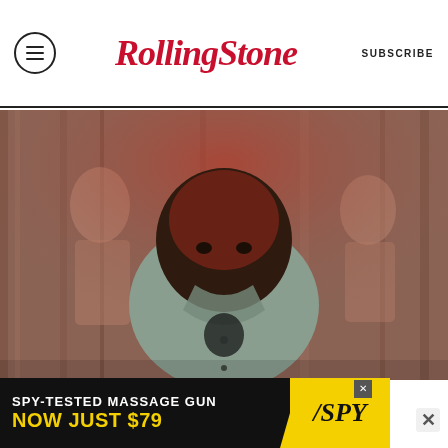Rolling Stone  SUBSCRIBE
[Figure (photo): Man standing in front of painted mural background, wearing a grey collared shirt]
NOT A JOKE
Judge Orders Dave Chappelle's
[Figure (infographic): Advertisement banner: SPY-TESTED MASSAGE GUN NOW JUST $79 with SPY logo on yellow background]